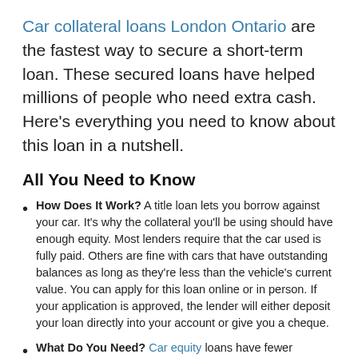Car collateral loans London Ontario are the fastest way to secure a short-term loan. These secured loans have helped millions of people who need extra cash. Here's everything you need to know about this loan in a nutshell.
All You Need to Know
How Does It Work? A title loan lets you borrow against your car. It's why the collateral you'll be using should have enough equity. Most lenders require that the car used is fully paid. Others are fine with cars that have outstanding balances as long as they're less than the vehicle's current value. You can apply for this loan online or in person. If your application is approved, the lender will either deposit your loan directly into your account or give you a cheque.
What Do You Need? Car equity loans have fewer requirements than conventional loans. While it's different per lending company, the majority would demand that the